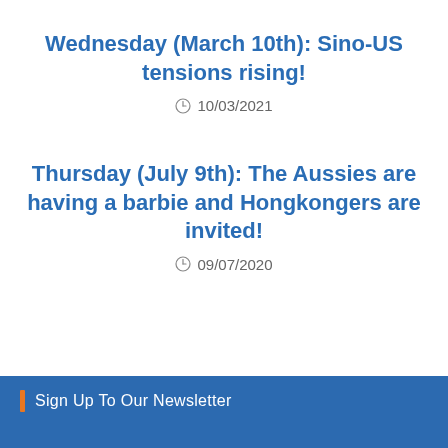Wednesday (March 10th): Sino-US tensions rising!
10/03/2021
Thursday (July 9th): The Aussies are having a barbie and Hongkongers are invited!
09/07/2020
Sign Up To Our Newsletter